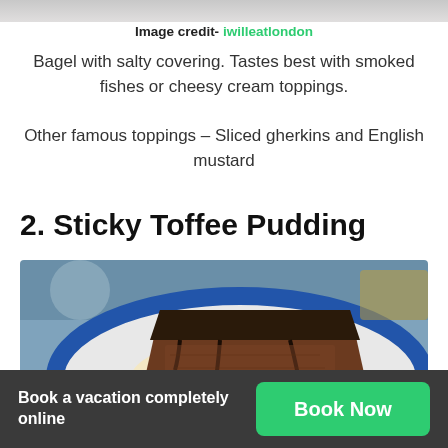[Figure (photo): Partial top strip of a food photo, cropped at the top of the page]
Image credit - iwilleatlondon
Bagel with salty covering. Tastes best with smoked fishes or cheesy cream toppings.
Other famous toppings – Sliced gherkins and English mustard
2. Sticky Toffee Pudding
[Figure (photo): Close-up photo of sticky toffee pudding slice with chocolate sauce on a blue-rimmed white plate]
Book a vacation completely online
Book Now